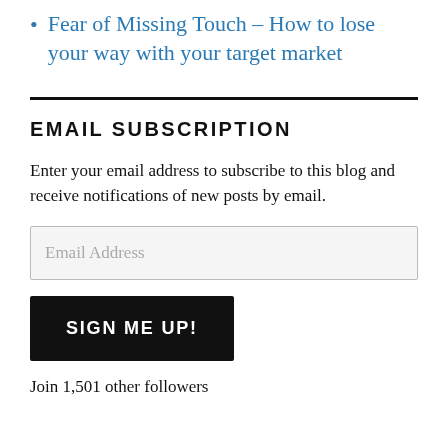Fear of Missing Touch – How to lose your way with your target market
EMAIL SUBSCRIPTION
Enter your email address to subscribe to this blog and receive notifications of new posts by email.
Email Address
SIGN ME UP!
Join 1,501 other followers